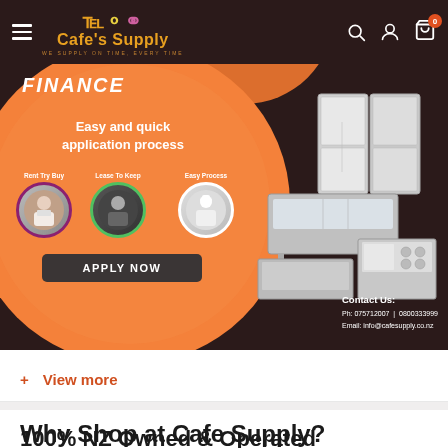Cafe's Supply — WE SUPPLY ON TIME, EVERY TIME — navigation bar with hamburger menu, search, user, and cart icons
[Figure (infographic): Finance banner ad: orange circle background with chef images (Rent Try Buy, Lease To Keep, Easy Process), commercial kitchen equipment on right side, 'Easy and quick application process', 'APPLY NOW' button, Contact Us: Ph: 075712007 | 0800333999, Email: info@cafesupply.co.nz]
+ View more
Why Shop at Cafe Supply?
100% NZ Owned & Operated